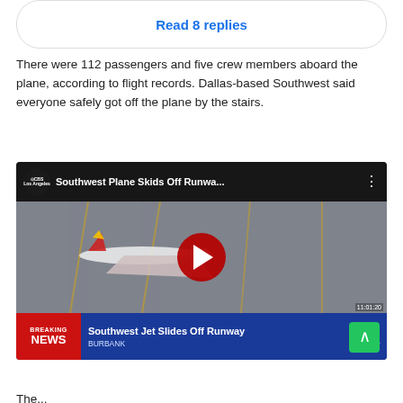Read 8 replies
There were 112 passengers and five crew members aboard the plane, according to flight records. Dallas-based Southwest said everyone safely got off the plane by the stairs.
[Figure (screenshot): YouTube video embed showing aerial footage of Southwest plane skidded off runway at Burbank airport. CBS Los Angeles breaking news chyron at bottom reads 'Southwest Jet Slides Off Runway' with BURBANK subtitle. Large red play button in center.]
The...